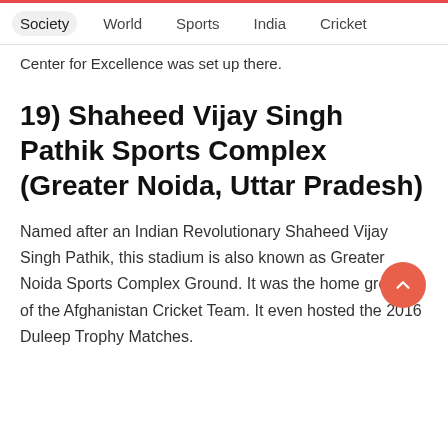Society  World  Sports  India  Cricket
Center for Excellence was set up there.
19)  Shaheed Vijay Singh Pathik Sports Complex (Greater Noida, Uttar Pradesh)
Named after an Indian Revolutionary Shaheed Vijay Singh Pathik, this stadium is also known as Greater Noida Sports Complex Ground. It was the home ground of the Afghanistan Cricket Team. It even hosted the 2016 Duleep Trophy Matches.